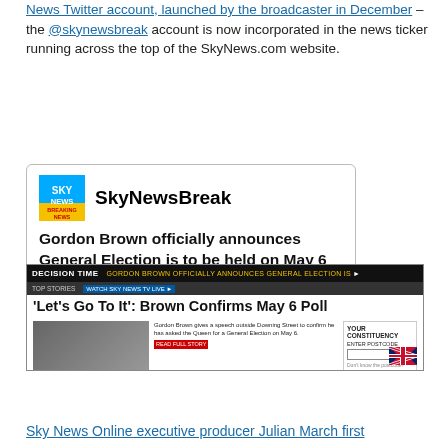News Twitter account, launched by the broadcaster in December – the @skynewsbreak account is now incorporated in the news ticker running across the top of the SkyNews.com website.
[Figure (screenshot): Screenshot of a SkyNewsBreak tweet: 'Gordon Brown officially announces General Election is to be held on May 6', posted about 1 hour ago via API, with Sky News Breaking News logo.]
[Figure (screenshot): Screenshot of Sky News website with 'Decision Time' banner, headline 'Let's Go To It': Brown Confirms May 6 Poll, and Gordon Brown speech story with YOUR CONSTITUENCY postcode search box.]
Sky News Online executive producer Julian March first